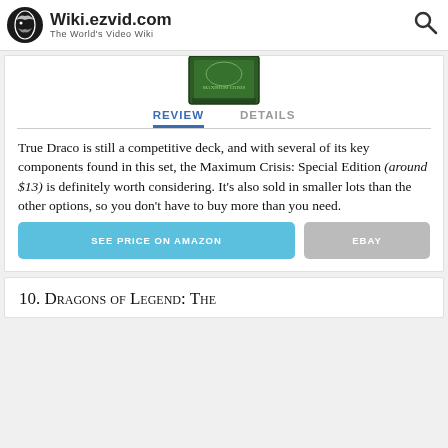Wiki.ezvid.com – The World's Video Wiki
[Figure (photo): Product image of Maximum Crisis Special Edition card set box, green colored box with dragon artwork]
REVIEW   DETAILS
True Draco is still a competitive deck, and with several of its key components found in this set, the Maximum Crisis: Special Edition (around $13) is definitely worth considering. It's also sold in smaller lots than the other options, so you don't have to buy more than you need.
SEE PRICE ON AMAZON   EBAY
10. Dragons of Legend: The